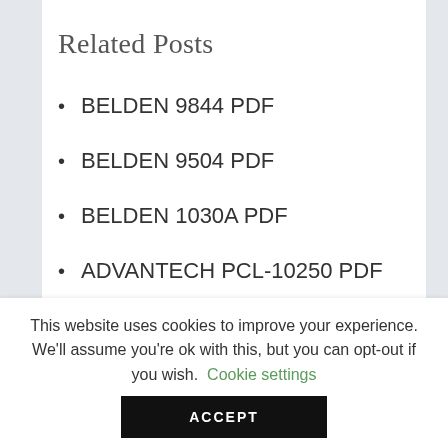Related Posts
BELDEN 9844 PDF
BELDEN 9504 PDF
BELDEN 1030A PDF
ADVANTECH PCL-10250 PDF
5220FL BELDEN PDF
ECS A740GM M MANUAL PDF
ADVANCED COMPUTER
This website uses cookies to improve your experience. We'll assume you're ok with this, but you can opt-out if you wish. Cookie settings ACCEPT